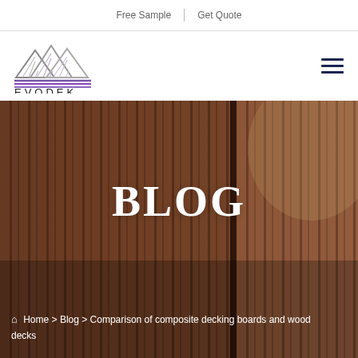Free Sample | Get Quote
[Figure (logo): EVODEK logo with mountain/roof graphic in grey and purple stripes, company name EVODEK below]
[Figure (photo): Close-up photo of composite decking boards in warm brown/wood tones with vertical grooves, used as hero background]
BLOG
Home > Blog > Comparison of composite decking boards and wood decks